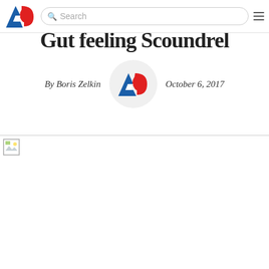AG logo, Search bar, Hamburger menu
Gut feeling Scoundrel (partially visible)
By Boris Zelkin   October 6, 2017
[Figure (logo): AG logo avatar circle]
[Figure (photo): Article image (broken/loading)]